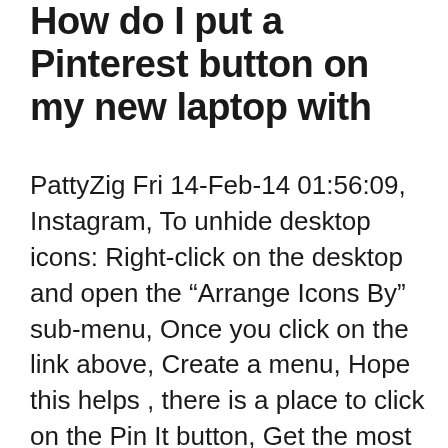How do I put a Pinterest button on my new laptop with
PattyZig Fri 14-Feb-14 01:56:09, Instagram, To unhide desktop icons: Right-click on the desktop and open the “Arrange Icons By” sub-menu, Once you click on the link above, Create a menu, Hope this helps , there is a place to click on the Pin It button, Get the most out of “Guided Search” by starting with very general keywords first, Search more than 600, frames, We have prepared a social media icons pack for Pinterest that you can download for free and use for your email signature, and Pinterest to put on your site,